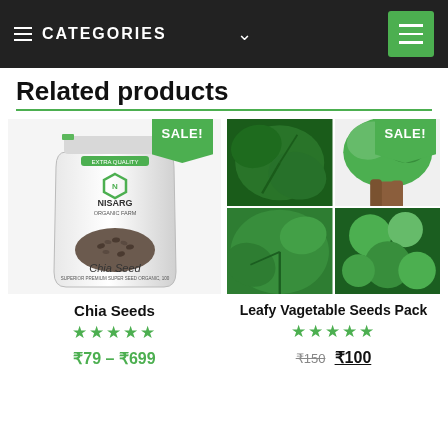≡ CATEGORIES ∨
Related products
[Figure (photo): Nisarg Organic Farm Chia Seed white resealable bag product photo with SALE! badge]
Chia Seeds
★★★★★
₹79 – ₹699
[Figure (photo): Four-image collage of leafy vegetables including spinach and coriander with SALE! badge]
Leafy Vagetable Seeds Pack
★★★★★
₹150 ₹100